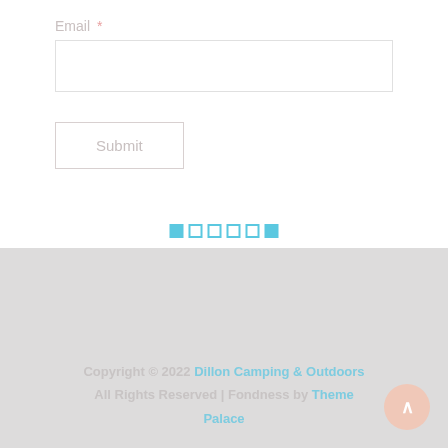Email *
[Figure (screenshot): Email input field (empty text box) and Submit button on a white background, with a row of teal/blue dots below]
Copyright © 2022 Dillon Camping & Outdoors All Rights Reserved | Fondness by Theme Palace